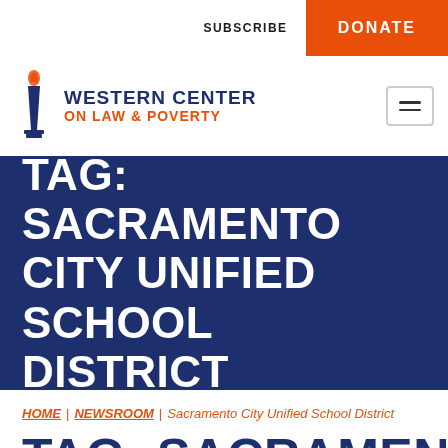SUBSCRIBE | DONATE
[Figure (logo): Western Center on Law & Poverty logo with torch icon, navy and orange text]
TAG: SACRAMENTO CITY UNIFIED SCHOOL DISTRICT
HOME | NEWSROOM | Sacramento City Unified School District
TAG: SACRAMENTO